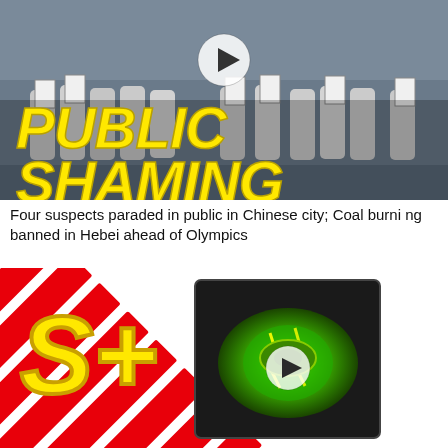[Figure (photo): Video thumbnail showing people in hazmat suits holding signs, with bold yellow text 'PUBLIC SHAMING' overlaid and a white play button icon in the center.]
Four suspects paraded in public in Chinese city; Coal burning banned in Hebei ahead of Olympics
[Figure (screenshot): Video thumbnail with red and white diagonal stripe pattern background, large yellow 'S+' logo on the left, and a centered dark square showing a green glowing spinning-top game image with a white play button overlay.]